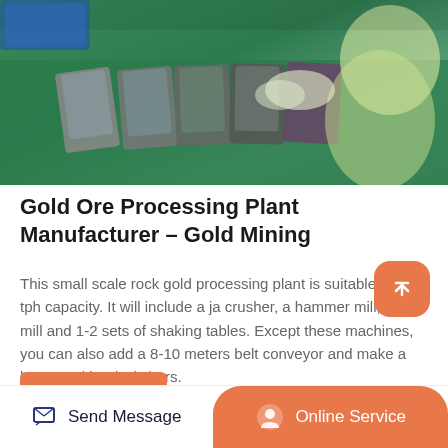[Figure (photo): Worker in yellow protective suit and gloves arranging circuit boards or tablets on a green-covered workbench in a manufacturing facility.]
Gold Ore Processing Plant Manufacturer – Gold Mining
This small scale rock gold processing plant is suitable for 1-2 tph capacity. It will include a jaw crusher, a hammer mill, a ball mill and 1-2 sets of shaking tables. Except these machines, you can also add a 8-10 meters belt conveyor and make a hopper with grizzly bars.
Read More
Send Message  |  Online Service